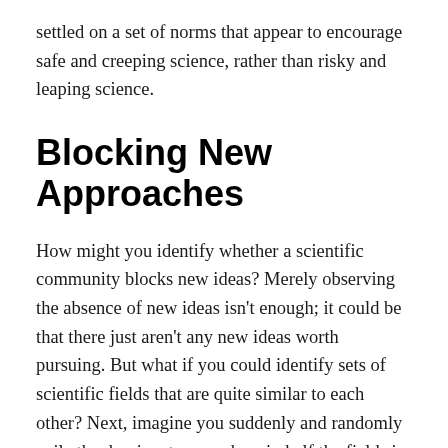settled on a set of norms that appear to encourage safe and creeping science, rather than risky and leaping science.
Blocking New Approaches
How might you identify whether a scientific community blocks new ideas? Merely observing the absence of new ideas isn't enough; it could be that there just aren't any new ideas worth pursuing. But what if you could identify sets of scientific fields that are quite similar to each other? Next, imagine you suddenly and randomly exile the dominant researchers in half the fields in order to stymie their ability to block new approaches. You could then compare what happens in